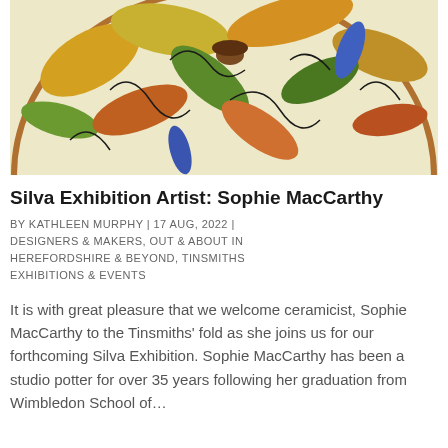[Figure (photo): A ceramic plate decorated with painted autumn leaves in yellow, orange, green and brown, with black curling tendrils and blue floral accents on a cream background. Only the upper portion of the circular plate is visible.]
Silva Exhibition Artist: Sophie MacCarthy
BY KATHLEEN MURPHY | 17 AUG, 2022 | DESIGNERS & MAKERS, OUT & ABOUT IN HEREFORDSHIRE & BEYOND, TINSMITHS EXHIBITIONS & EVENTS
It is with great pleasure that we welcome ceramicist, Sophie MacCarthy to the Tinsmiths' fold as she joins us for our forthcoming Silva Exhibition. Sophie MacCarthy has been a studio potter for over 35 years following her graduation from Wimbledon School of…